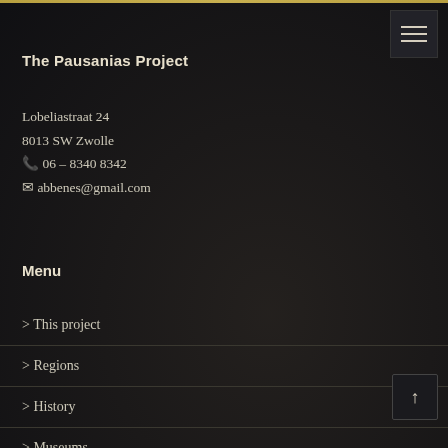The Pausanias Project
Lobeliastraat 24
8013 SW Zwolle
📞 06 – 8340 8342
✉ abbenes@gmail.com
Menu
> This project
> Regions
> History
> Museums